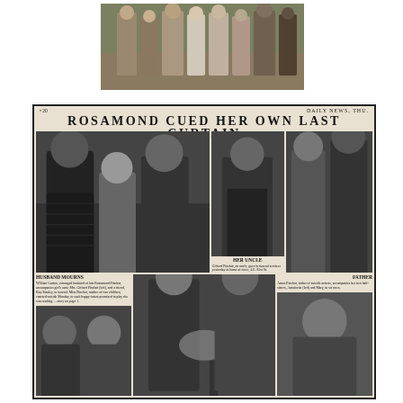[Figure (photo): Group photo of several people in period costumes or theatrical dress, standing outdoors]
[Figure (photo): Newspaper clipping from Daily News with headline 'ROSAMOND CUED HER OWN LAST CURTAIN' featuring multiple photographs of people at a funeral, including sections captioned 'HUSBAND MOURNS', 'HER UNCLE', and 'FATHER']